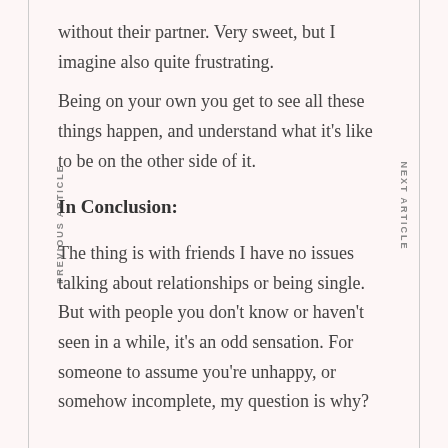without their partner. Very sweet, but I imagine also quite frustrating.
Being on your own you get to see all these things happen, and understand what it's like to be on the other side of it.
In Conclusion:
The thing is with friends I have no issues talking about relationships or being single. But with people you don't know or haven't seen in a while, it's an odd sensation. For someone to assume you're unhappy, or somehow incomplete, my question is why?